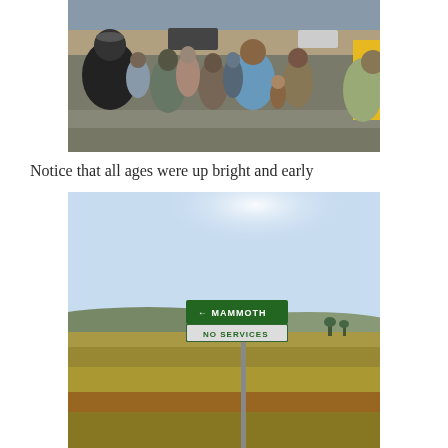[Figure (photo): A crowd of people of various ages gathered outdoors in a sunny parking lot or street area, with storefronts and vehicles visible in the background. People are standing and facing away from the camera.]
Notice that all ages were up bright and early
[Figure (photo): A road sign on a post in an open rural landscape with dry grassy fields and rolling hills. The green sign reads: left arrow MAMMOTH / NO SERVICES. Clear blue sky in background.]